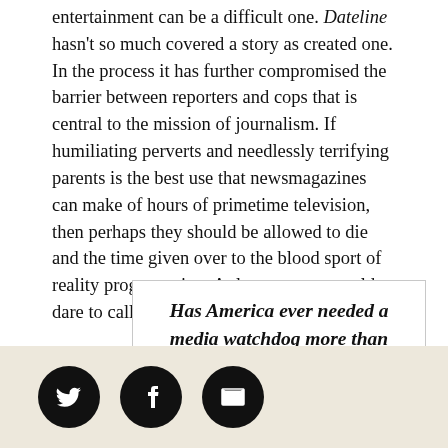entertainment can be a difficult one. Dateline hasn't so much covered a story as created one. In the process it has further compromised the barrier between reporters and cops that is central to the mission of journalism. If humiliating perverts and needlessly terrifying parents is the best use that newsmagazines can make of hours of primetime television, then perhaps they should be allowed to die and the time given over to the blood sport of reality programming. At least no one would dare to call it news.
Has America ever needed a media watchdog more than now? Help us by joining CJR today.
[Figure (other): Social media sharing buttons: Twitter, Facebook, Email on a beige/tan background bar]